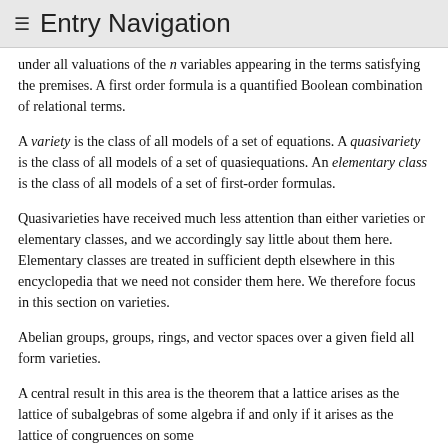≡ Entry Navigation
under all valuations of the n variables appearing in the terms satisfying the premises. A first order formula is a quantified Boolean combination of relational terms.
A variety is the class of all models of a set of equations. A quasivariety is the class of all models of a set of quasiequations. An elementary class is the class of all models of a set of first-order formulas.
Quasivarieties have received much less attention than either varieties or elementary classes, and we accordingly say little about them here. Elementary classes are treated in sufficient depth elsewhere in this encyclopedia that we need not consider them here. We therefore focus in this section on varieties.
Abelian groups, groups, rings, and vector spaces over a given field all form varieties.
A central result in this area is the theorem that a lattice arises as the lattice of subalgebras of some algebra if and only if it arises as the lattice of congruences on some